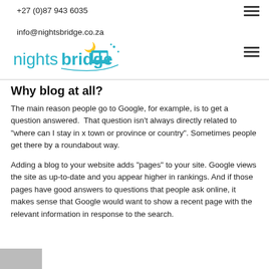+27 (0)87 943 6035
info@nightsbridge.co.za
[Figure (logo): Nightsbridge logo with moon and bed icon in teal/cyan color]
Why blog at all?
The main reason people go to Google, for example, is to get a question answered.  That question isn’t always directly related to “where can I stay in x town or province or country”. Sometimes people get there by a roundabout way.
Adding a blog to your website adds “pages” to your site. Google views the site as up-to-date and you appear higher in rankings. And if those pages have good answers to questions that people ask online, it makes sense that Google would want to show a recent page with the relevant information in response to the search.